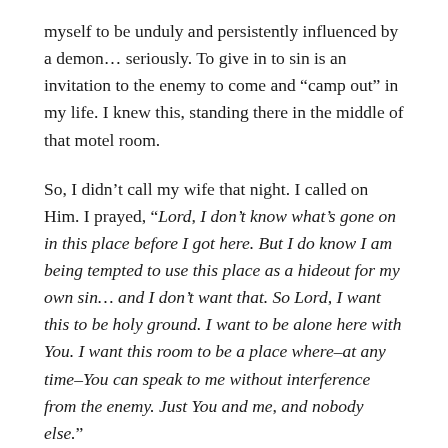myself to be unduly and persistently influenced by a demon… seriously. To give in to sin is an invitation to the enemy to come and “camp out” in my life. I knew this, standing there in the middle of that motel room.
So, I didn’t call my wife that night. I called on Him. I prayed, “Lord, I don’t know what’s gone on in this place before I got here. But I do know I am being tempted to use this place as a hideout for my own sin… and I don’t want that. So Lord, I want this to be holy ground. I want to be alone here with You. I want this room to be a place where–at any time–You can speak to me without interference from the enemy. Just You and me, and nobody else.”